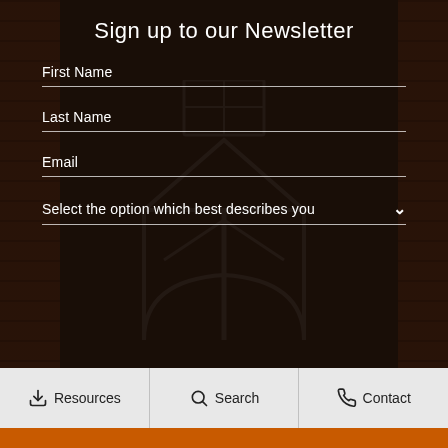Sign up to our Newsletter
First Name
Last Name
Email
Select the option which best describes you
Resources  Search  Contact